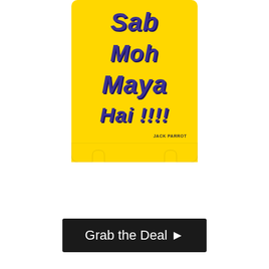[Figure (photo): Yellow koozie/can cooler with bold purple graffiti-style text reading 'Sab Moh Maya Hai !!!!' with a Jack Parrot brand logo at the bottom right]
Grab the Deal ▶